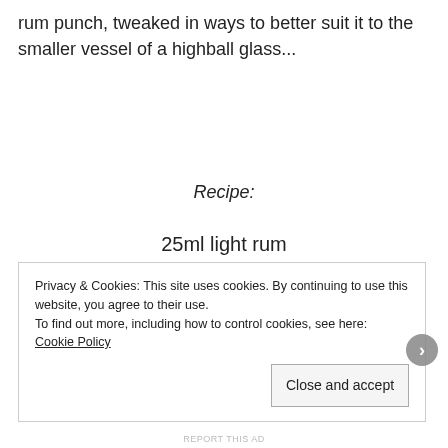rum punch, tweaked in ways to better suit it to the smaller vessel of a highball glass...
Recipe:
25ml light rum
25ml dark rum
Privacy & Cookies: This site uses cookies. By continuing to use this website, you agree to their use.
To find out more, including how to control cookies, see here: Cookie Policy
Close and accept
REPORT THIS AD